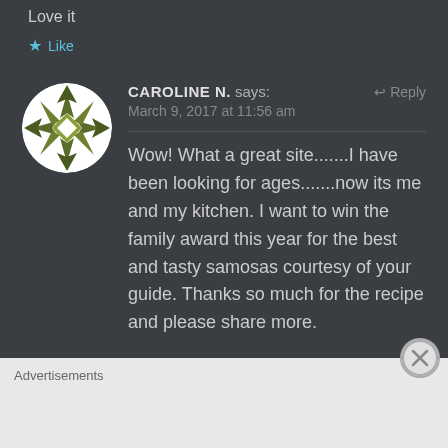Love it
★ Like
[Figure (illustration): Circular avatar with olive green geometric quilt-pattern design on white background]
CAROLINE N. says:
↩ Reply
March 9, 2017 at 11:56 am
Wow! What a great site.......I have been looking for ages.......now its me and my kitchen. I want to win the family award this year for the best and tasty samosas courtesy of your guide. Thanks so much for the recipe and please share more.
Advertisements